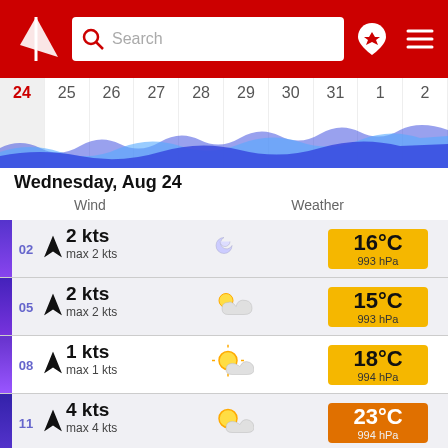[Figure (screenshot): App header with red background, logo (sailing boat arrow), search bar, location pin icon, and hamburger menu]
[Figure (other): Calendar strip showing dates 24-31 Aug and 1-2 Sep with wave/tide chart below]
Wednesday, Aug 24
Wind    Weather
| Time | Wind | Max Wind | Weather Icon | Temperature | Pressure |
| --- | --- | --- | --- | --- | --- |
| 02 | 2 kts | max 2 kts | moon | 16°C | 993 hPa |
| 05 | 2 kts | max 2 kts | partly cloudy night | 15°C | 993 hPa |
| 08 | 1 kts | max 1 kts | partly cloudy day | 18°C | 994 hPa |
| 11 | 4 kts | max 4 kts | partly cloudy day | 23°C | 994 hPa |